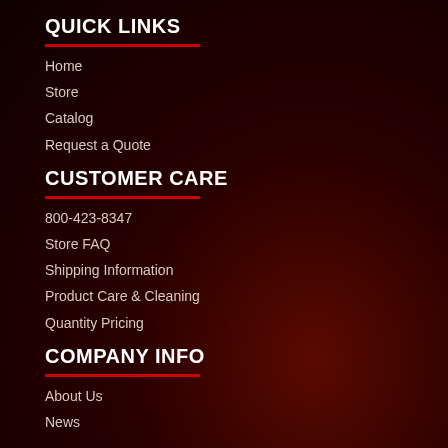QUICK LINKS
Home
Store
Catalog
Request a Quote
CUSTOMER CARE
800-423-8347
Store FAQ
Shipping Information
Product Care & Cleaning
Quantity Pricing
COMPANY INFO
About Us
News